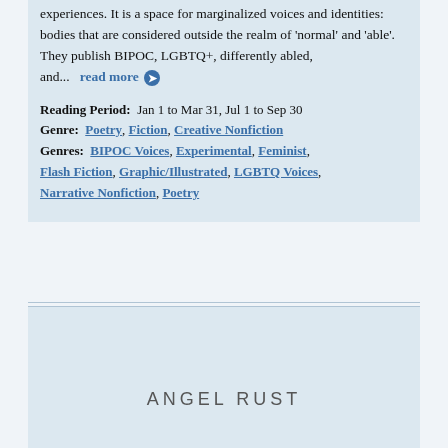experiences. It is a space for marginalized voices and identities: bodies that are considered outside the realm of 'normal' and 'able'. They publish BIPOC, LGBTQ+, differently abled, and...   read more ➔
Reading Period:  Jan 1 to Mar 31, Jul 1 to Sep 30
Genre:  Poetry, Fiction, Creative Nonfiction
Genres:  BIPOC Voices, Experimental, Feminist, Flash Fiction, Graphic/Illustrated, LGBTQ Voices, Narrative Nonfiction, Poetry
ANGEL RUST